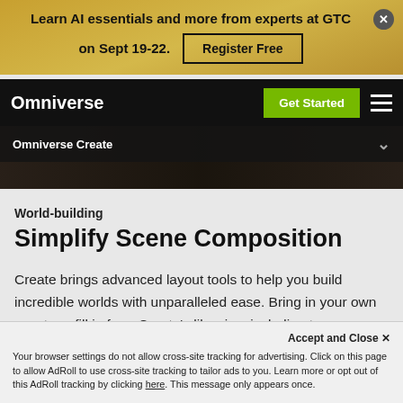Learn AI essentials and more from experts at GTC on Sept 19-22. Register Free
Omniverse
Omniverse Create
World-building
Simplify Scene Composition
Create brings advanced layout tools to help you build incredible worlds with unparalleled ease. Bring in your own assets or fill in from Create's libraries, including trees, furniture, roads, and more. Then move and co...
Accept and Close ✕
Your browser settings do not allow cross-site tracking for advertising. Click on this page to allow AdRoll to use cross-site tracking to tailor ads to you. Learn more or opt out of this AdRoll tracking by clicking here. This message only appears once.